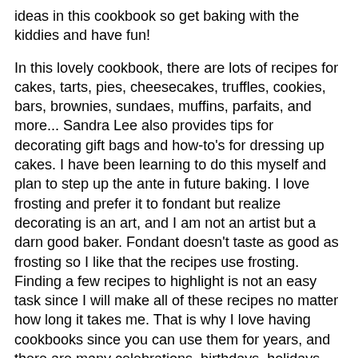ideas in this cookbook so get baking with the kiddies and have fun!
In this lovely cookbook, there are lots of recipes for cakes, tarts, pies, cheesecakes, truffles, cookies, bars, brownies, sundaes, muffins, parfaits, and more... Sandra Lee also provides tips for decorating gift bags and how-to's for dressing up cakes. I have been learning to do this myself and plan to step up the ante in future baking. I love frosting and prefer it to fondant but realize decorating is an art, and I am not an artist but a darn good baker. Fondant doesn't taste as good as frosting so I like that the recipes use frosting. Finding a few recipes to highlight is not an easy task since I will make all of these recipes no matter how long it takes me. That is why I love having cookbooks since you can use them for years, and there are many celebrations, birthdays, holidays and get togethers with family and/or friends which give you the opportunity to bake away.
I love the White Chocolate-Orange Chessman Cheesecake which would be great for a family dinner and the